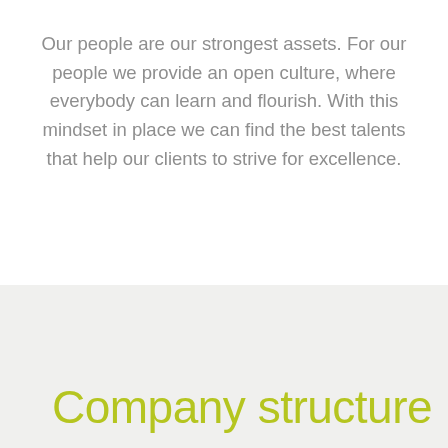Our people are our strongest assets. For our people we provide an open culture, where everybody can learn and flourish. With this mindset in place we can find the best talents that help our clients to strive for excellence.
Company structure